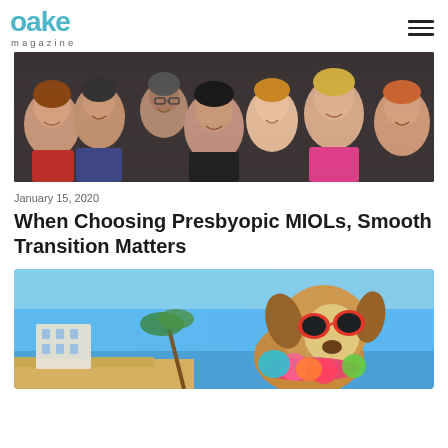cake magazine
[Figure (photo): Group of smiling people, crowd shot]
January 15, 2020
When Choosing Presbyopic MIOLs, Smooth Transition Matters
[Figure (photo): Dog wearing sunglasses and floral lei on a beach]